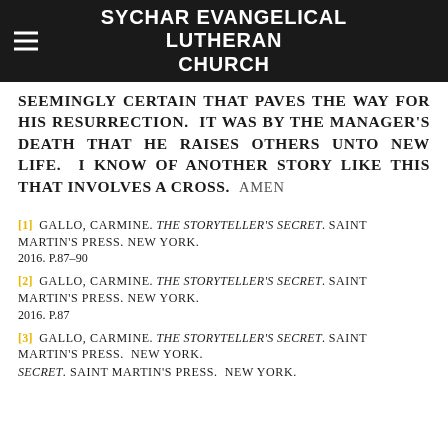SYCHAR EVANGELICAL LUTHERAN CHURCH
SEEMINGLY CERTAIN THAT PAVES THE WAY FOR HIS RESURRECTION. IT WAS BY THE MANAGER'S DEATH THAT HE RAISES OTHERS UNTO NEW LIFE. I KNOW OF ANOTHER STORY LIKE THIS THAT INVOLVES A CROSS. AMEN
[1] GALLO, CARMINE. THE STORYTELLER'S SECRET. SAINT MARTIN'S PRESS. NEW YORK. 2016. P.87-90
[2] GALLO, CARMINE. THE STORYTELLER'S SECRET. SAINT MARTIN'S PRESS. NEW YORK. 2016. P.87
[3] GALLO, CARMINE. THE STORYTELLER'S SECRET. SAINT MARTIN'S PRESS. NEW YORK.